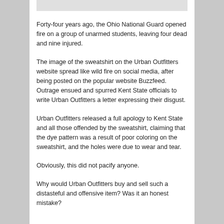Forty-four years ago, the Ohio National Guard opened fire on a group of unarmed students, leaving four dead and nine injured.
The image of the sweatshirt on the Urban Outfitters website spread like wild fire on social media, after being posted on the popular website Buzzfeed. Outrage ensued and spurred Kent State officials to write Urban Outfitters a letter expressing their disgust.
Urban Outfitters released a full apology to Kent State and all those offended by the sweatshirt, claiming that the dye pattern was a result of poor coloring on the sweatshirt, and the holes were due to wear and tear.
Obviously, this did not pacify anyone.
Why would Urban Outfitters buy and sell such a distasteful and offensive item? Was it an honest mistake?